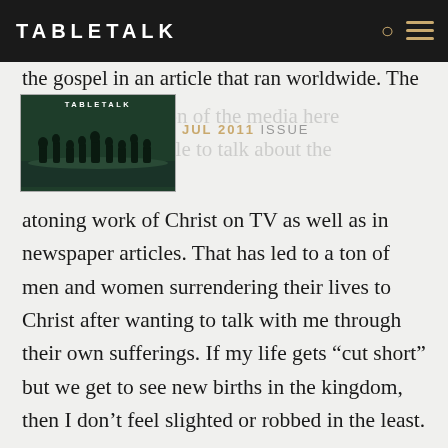TABLETALK
[Figure (other): Tabletalk magazine cover thumbnail with JUL 2011 ISSUE label overlay]
the gospel in an article that ran worldwide. The [magazine] caught the attention of the media here and we've been able to talk about the atoning work of Christ on TV as well as in newspaper articles. That has led to a ton of men and women surrendering their lives to Christ after wanting to talk with me through their own sufferings. If my life gets “cut short” but we get to see new births in the kingdom, then I don’t feel slighted or robbed in the least.
TT: In the late summer/early fall of 2010, you went to Sudan. How did that trip impact your life?
MC: I was deeply moved by my trip to Sudan. I’ve